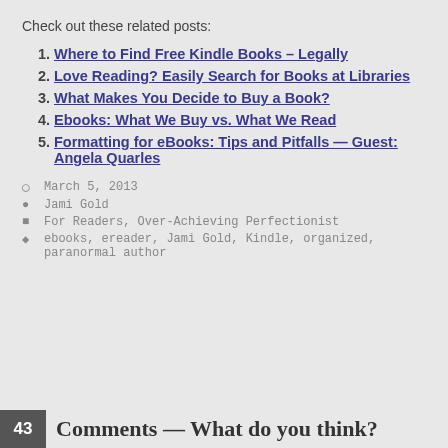Check out these related posts:
Where to Find Free Kindle Books – Legally
Love Reading? Easily Search for Books at Libraries
What Makes You Decide to Buy a Book?
Ebooks: What We Buy vs. What We Read
Formatting for eBooks: Tips and Pitfalls — Guest: Angela Quarles
March 5, 2013
Jami Gold
For Readers, Over-Achieving Perfectionist
ebooks, ereader, Jami Gold, Kindle, organized, paranormal author
43  Comments — What do you think?